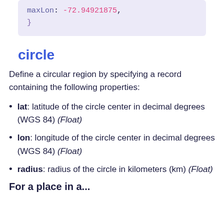maxLon: -72.94921875,
}
circle
Define a circular region by specifying a record containing the following properties:
lat: latitude of the circle center in decimal degrees (WGS 84) (Float)
lon: longitude of the circle center in decimal degrees (WGS 84) (Float)
radius: radius of the circle in kilometers (km) (Float)
For a place in a...